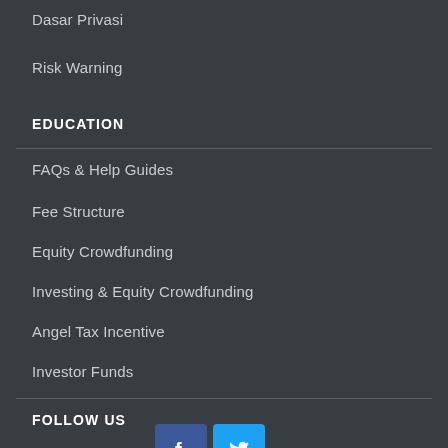Dasar Privasi
Risk Warning
EDUCATION
FAQs & Help Guides
Fee Structure
Equity Crowdfunding
Investing & Equity Crowdfunding
Angel Tax Incentive
Investor Funds
FOLLOW US
[Figure (logo): Facebook and Twitter social media icons]